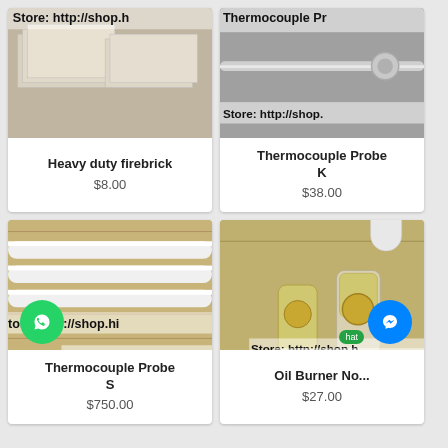[Figure (photo): Photo of stacked white firebricks with overlaid store URL text 'Store: http://shop.h...']
Heavy duty firebrick
$8.00
[Figure (photo): Photo of a thermocouple probe (metal rod) with overlaid text 'Thermocouple Pr...' and 'Store: http://shop...']
Thermocouple Probe K
$38.00
[Figure (photo): Photo of white cylindrical thermocouple probe rods on wood background with overlaid text 'Thermocouple Pro', 'tore: http://shop.hi...', 'rmocouple Probe S']
Thermocouple Probe S
$750.00
[Figure (photo): Photo of oil burner nozzles in plastic containers on wood background with overlaid text 'Oil Burner N', 'Store: http://shop.h...', 'Oil Burner No...']
Oil Burner No...
$27.00